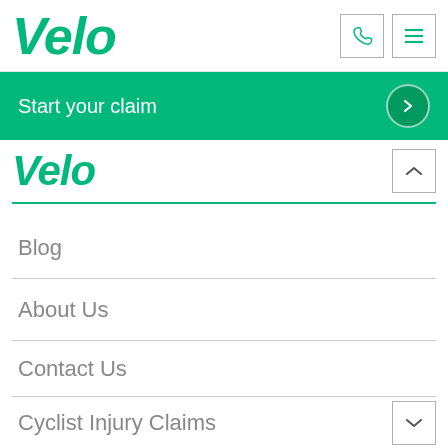[Figure (logo): Velo logo in green italic bold font, top header]
[Figure (screenshot): Phone icon button and hamburger menu icon button in top right]
Start your claim
[Figure (logo): Velo logo in green italic bold font, second header row]
Blog
About Us
Contact Us
Cyclist Injury Claims